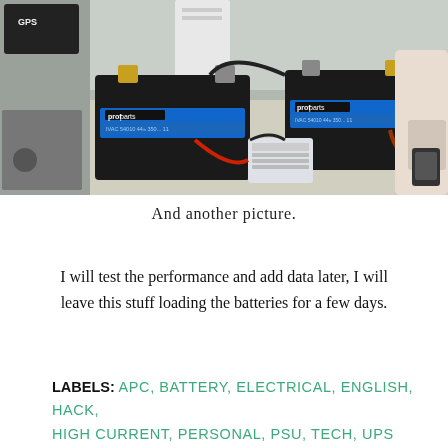[Figure (photo): Photo of two ProParts car batteries on a workbench, connected with cables. A GPS device is visible on a shelf to the upper left, and electronics/wiring are visible on the right side. A white DIN-rail component sits between the batteries in the foreground.]
And another picture.
I will test the performance and add data later, I will leave this stuff loading the batteries for a few days.
LABELS: APC, BATTERY, ELECTRICAL, ENGLISH, HACK, HIGH CURRENT, PERSONAL, PSU, TECH, UPS